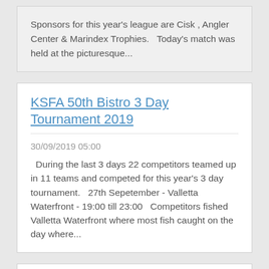Sponsors for this year's league are Cisk , Angler Center & Marindex Trophies.   Today's match was held at the picturesque...
KSFA 50th Bistro 3 Day Tournament 2019
30/09/2019 05:00
During the last 3 days 22 competitors teamed up in 11 teams and competed for this year's 3 day tournament.   27th Sepetember - Valletta Waterfront - 19:00 till 23:00   Competitors fished Valletta Waterfront where most fish caught on the day where...
KSFA Cisk Lager Mullet 2019 League
12/09/2019 12:30